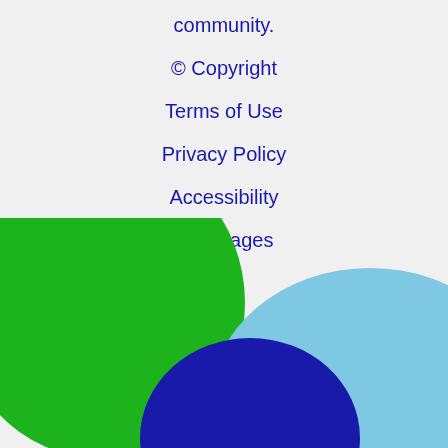community.
© Copyright
Terms of Use
Privacy Policy
Accessibility
Languages
[Figure (illustration): Decorative overlapping circles/ellipses in green, blue, and light blue at the bottom of the page]